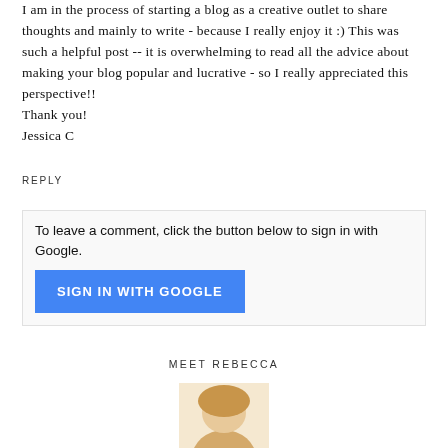I am in the process of starting a blog as a creative outlet to share thoughts and mainly to write - because I really enjoy it :) This was such a helpful post -- it is overwhelming to read all the advice about making your blog popular and lucrative - so I really appreciated this perspective!! Thank you! Jessica C
REPLY
To leave a comment, click the button below to sign in with Google.
[Figure (screenshot): Blue button labeled SIGN IN WITH GOOGLE]
MEET REBECCA
[Figure (photo): Partial portrait photo of Rebecca, showing top of head/hair with warm beige tones]